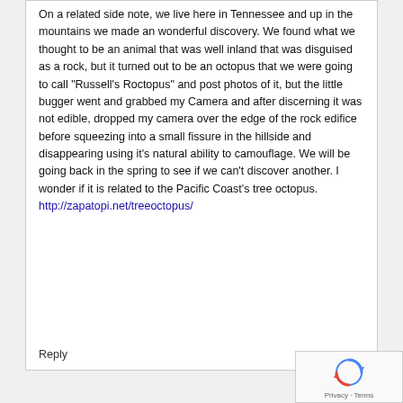On a related side note, we live here in Tennessee and up in the mountains we made an wonderful discovery. We found what we thought to be an animal that was well inland that was disguised as a rock, but it turned out to be an octopus that we were going to call "Russell's Roctopus" and post photos of it, but the little bugger went and grabbed my Camera and after discerning it was not edible, dropped my camera over the edge of the rock edifice before squeezing into a small fissure in the hillside and disappearing using it's natural ability to camouflage. We will be going back in the spring to see if we can't discover another. I wonder if it is related to the Pacific Coast's tree octopus.
http://zapatopi.net/treeoctopus/
Reply
[Figure (other): reCAPTCHA badge with spinning arrows logo and Privacy - Terms text]